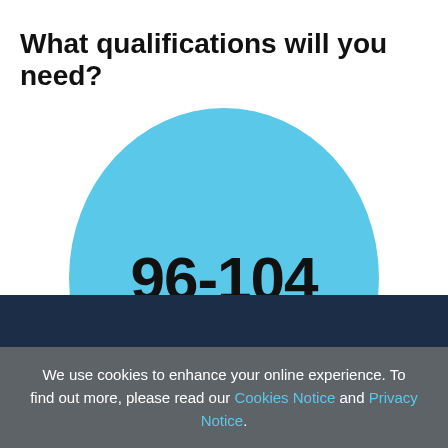What qualifications will you need?
[Figure (infographic): A large light blue circle containing the UCAS tariff points range '96-104' in large bold text with the label 'UCAS tariff points' below it.]
We use cookies to enhance your online experience. To find out more, please read our Cookies Notice and Privacy Notice.